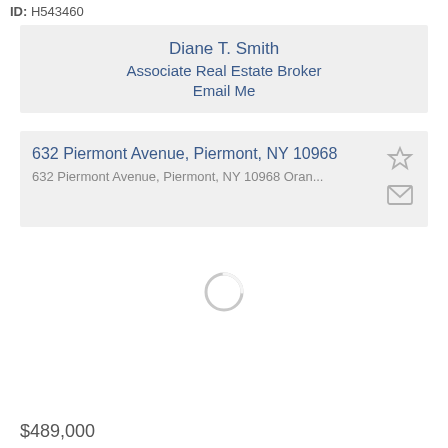ID: H543460
Diane T. Smith
Associate Real Estate Broker
Email Me
632 Piermont Avenue, Piermont, NY 10968
632 Piermont Avenue, Piermont, NY 10968 Oran...
[Figure (other): Loading spinner circle]
$489,000